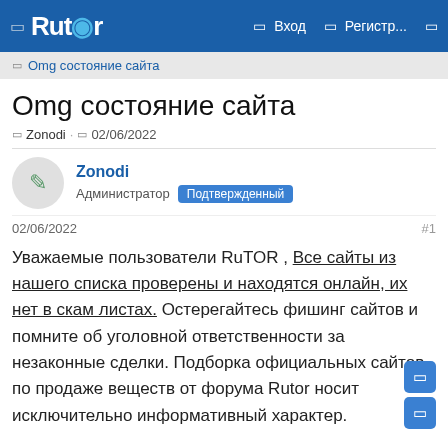Rutor — Вход — Регистр...
Omg состояние сайта
Omg состояние сайта
Zonodi · 02/06/2022
Zonodi
Администратор Подтвержденный
02/06/2022	#1
Уважаемые пользователи RuTOR , Все сайты из нашего списка проверены и находятся онлайн, их нет в скам листах. Остерегайтесь фишинг сайтов и помните об уголовной ответственности за незаконные сделки. Подборка официальных сайтов по продаже веществ от форума Rutor носит исключительно информативный характер.